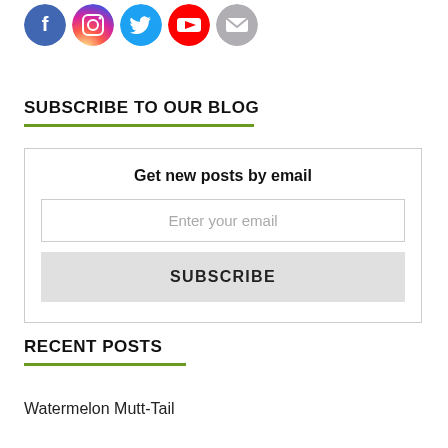[Figure (illustration): Row of 5 social media icons (circles): Facebook (blue), Instagram (pink/purple gradient), Twitter (light blue), YouTube (red), Email (grey)]
SUBSCRIBE TO OUR BLOG
Get new posts by email
Enter your email
SUBSCRIBE
RECENT POSTS
Watermelon Mutt-Tail